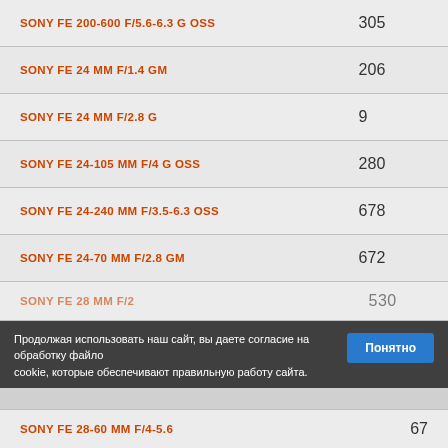| Lens | Count |
| --- | --- |
| SONY FE 200-600 F/5.6-6.3 G OSS | 305 |
| SONY FE 24 MM F/1.4 GM | 206 |
| SONY FE 24 MM F/2.8 G | 9 |
| SONY FE 24-105 MM F/4 G OSS | 280 |
| SONY FE 24-240 MM F/3.5-6.3 OSS | 678 |
| SONY FE 24-70 MM F/2.8 GM | 672 |
| SONY FE 28 MM F/2 | 530 |
| SONY FE 28-60 MM F/4-5.6 | 67 |
Продолжая использовать наш сайт, вы даете согласие на обработку файло cookie, которые обеспечивают правильную работу сайта. Понятно